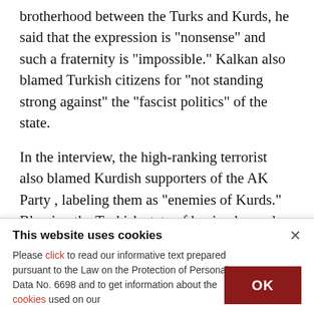brotherhood between the Turks and Kurds, he said that the expression is "nonsense" and such a fraternity is "impossible." Kalkan also blamed Turkish citizens for "not standing strong against" the "fascist politics" of the state.
In the interview, the high-ranking terrorist also blamed Kurdish supporters of the AK Party , labeling them as "enemies of Kurds." Blaming the Turkish state of having burned the
This website uses cookies
Please click to read our informative text prepared pursuant to the Law on the Protection of Personal Data No. 6698 and to get information about the cookies used on our